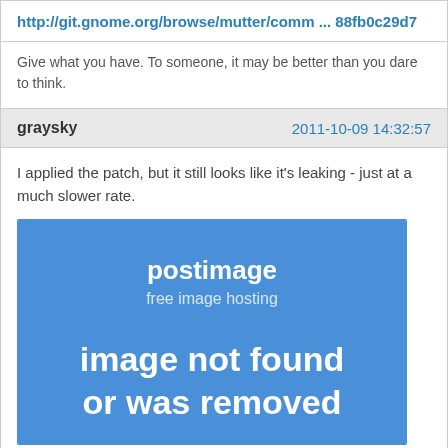http://git.gnome.org/browse/mutter/comm ... 88fb0c29d7
Give what you have. To someone, it may be better than you dare to think.
graysky
2011-10-09 14:32:57
I applied the patch, but it still looks like it's leaking - just at a much slower rate.
[Figure (other): Postimage placeholder: blue rectangle with 'postimage' logo, 'free image hosting' subtitle, and 'image not found or was removed' message in large white text.]